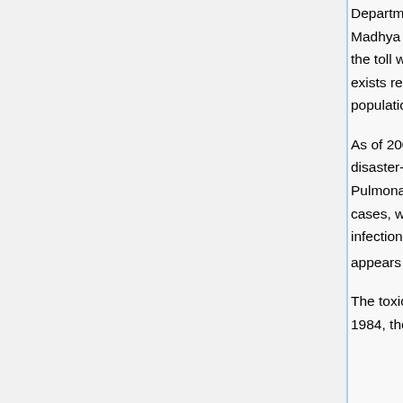Department of Relief and Rehabilitation, Government of Madhya Pradesh, placed the death toll at 3,598, and by 1994 the toll was estimated at more than 6,000. Some uncertainty exists regarding the number of deaths because a portion of the population left the city after the accident and never returned.
As of 2005, independent agencies estimated that the number of disaster-related deaths was between 15,000 and 20,000. Pulmonary edema was the probable cause of death in most cases, with many deaths resulting from secondary respiratory infections. Chronic inflammatory damage to the eyes and lungs appears to be the main cause of morbidity.[1]
The toxic plume had barely cleared when, on December 7, 1984, the first